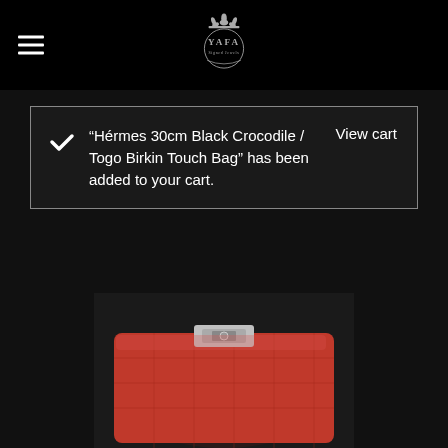YAFA logo and hamburger menu
“Hérmes 30cm Black Crocodile / Togo Birkin Touch Bag” has been added to your cart.
View cart
[Figure (photo): Bottom portion of a red crocodile leather Birkin bag with silver hardware clasp, partially visible at bottom of page]